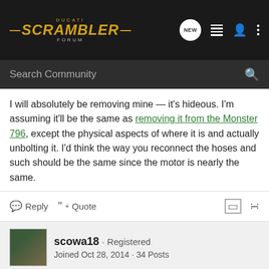Ducati Scrambler Forum — navigation header with search bar
I will absolutely be removing mine — it's hideous. I'm assuming it'll be the same as removing it from the Monster 796, except the physical aspects of where it is and actually unbolting it. I'd think the way you reconnect the hoses and such should be the same since the motor is nearly the same.
Reply   Quote
scowa18 · Registered
Joined Oct 28, 2014 · 34 Posts
#3 · Feb 19, 2015
You may also want to check with your dealer to see if they will remove it. I questioned my dealer about it and was told they will